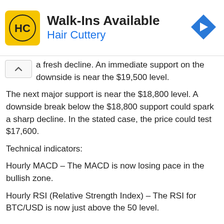[Figure (other): Hair Cuttery advertisement banner with yellow logo, 'Walk-Ins Available' heading, 'Hair Cuttery' subtitle in blue, and a blue diamond direction arrow icon on the right.]
a fresh decline. An immediate support on the downside is near the $19,500 level.
The next major support is near the $18,800 level. A downside break below the $18,800 support could spark a sharp decline. In the stated case, the price could test $17,600.
Technical indicators:
Hourly MACD – The MACD is now losing pace in the bullish zone.
Hourly RSI (Relative Strength Index) – The RSI for BTC/USD is now just above the 50 level.